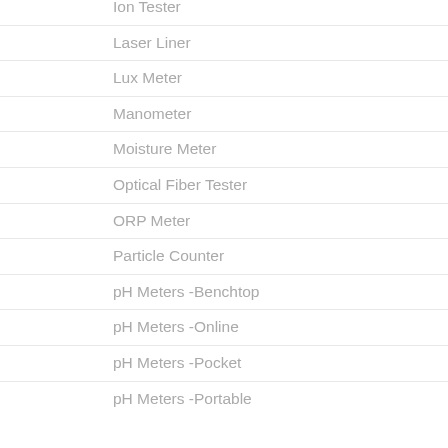Ion Tester
Laser Liner
Lux Meter
Manometer
Moisture Meter
Optical Fiber Tester
ORP Meter
Particle Counter
pH Meters -Benchtop
pH Meters -Online
pH Meters -Pocket
pH Meters -Portable